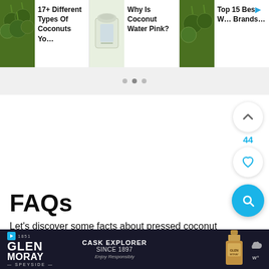[Figure (screenshot): Top navigation strip showing three article cards: '17+ Different Types Of Coconuts Yo…', 'Why Is Coconut Water Pink?', 'Top 15 Best Cocon▶ W… Brands…' each with a thumbnail image of coconuts or coconut water]
[Figure (screenshot): Slider pagination dots (three grey dots) on a light grey background strip]
[Figure (screenshot): White content area with upvote button (chevron up), vote count 44, and heart/like button on the right side, plus blue search button]
FAQs
Let's discover some facts about pressed coconut
[Figure (screenshot): Glen Moray Speyside whisky advertisement banner at the bottom: Glen Moray logo with play icon, 'CASK EXPLORER SINCE 1897' text, whisky bottle imagery, and weather/app icon on dark background]